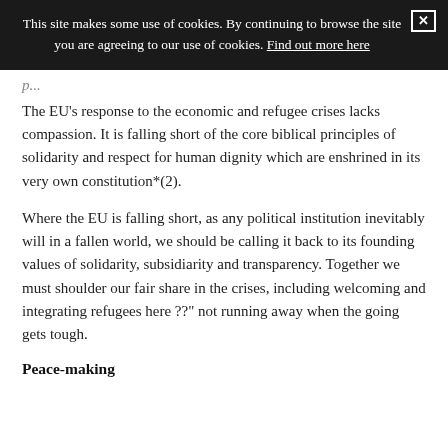This site makes some use of cookies. By continuing to browse the site you are agreeing to our use of cookies. Find out more here
p...
The EU's response to the economic and refugee crises lacks compassion. It is falling short of the core biblical principles of solidarity and respect for human dignity which are enshrined in its very own constitution*(2).
Where the EU is falling short, as any political institution inevitably will in a fallen world, we should be calling it back to its founding values of solidarity, subsidiarity and transparency. Together we must shoulder our fair share in the crises, including welcoming and integrating refugees here ??" not running away when the going gets tough.
Peace-making